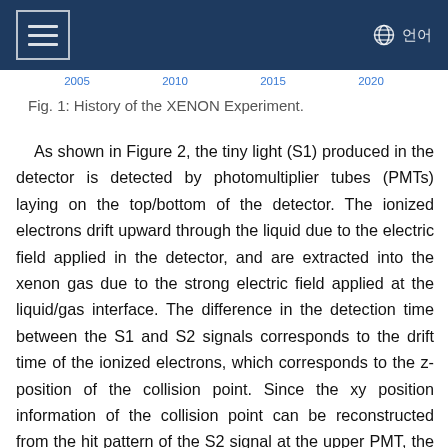≡  🌐 언어
[Figure (other): Partial x-axis timeline showing years 2005, 2010, 2015, 2020 (bottom edge of a chart about the History of the XENON Experiment)]
Fig. 1: History of the XENON Experiment.
As shown in Figure 2, the tiny light (S1) produced in the detector is detected by photomultiplier tubes (PMTs) laying on the top/bottom of the detector. The ionized electrons drift upward through the liquid due to the electric field applied in the detector, and are extracted into the xenon gas due to the strong electric field applied at the liquid/gas interface. The difference in the detection time between the S1 and S2 signals corresponds to the drift time of the ionized electrons, which corresponds to the z-position of the collision point. Since the xy position information of the collision point can be reconstructed from the hit pattern of the S2 signal at the upper PMT, the three-